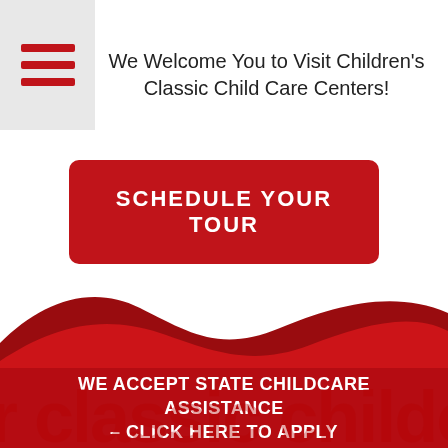[Figure (other): Hamburger menu icon with three red horizontal bars on a light grey background]
We Welcome You to Visit Children's Classic Child Care Centers!
SCHEDULE YOUR TOUR
[Figure (illustration): Red wavy decorative shape transitioning into a solid red footer background]
WE ACCEPT STATE CHILDCARE ASSISTANCE – CLICK HERE TO APPLY